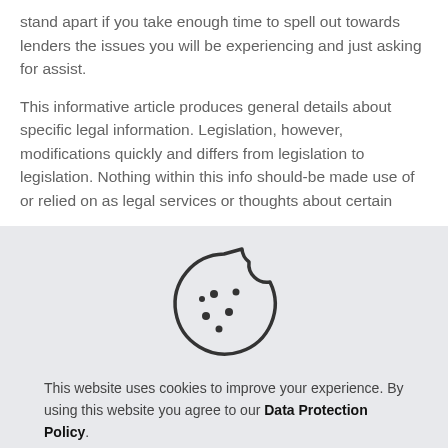stand apart if you take enough time to spell out towards lenders the issues you will be experiencing and just asking for assist.
This informative article produces general details about specific legal information. Legislation, however, modifications quickly and differs from legislation to legislation. Nothing within this info should-be made use of or relied on as legal services or thoughts about certain
[Figure (illustration): Cookie icon — a round cookie with a bite taken out of the upper right, with several small dots (chocolate chips) on its surface. Drawn in outline style with dark lines on light background.]
This website uses cookies to improve your experience. By using this website you agree to our Data Protection Policy.
Read more
Accept all